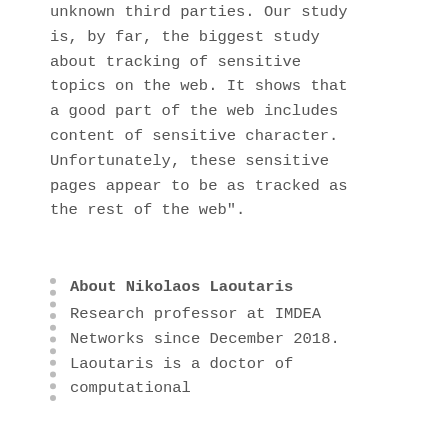unknown third parties. Our study is, by far, the biggest study about tracking of sensitive topics on the web. It shows that a good part of the web includes content of sensitive character. Unfortunately, these sensitive pages appear to be as tracked as the rest of the web".
About Nikolaos Laoutaris
Research professor at IMDEA Networks since December 2018. Laoutaris is a doctor of computational